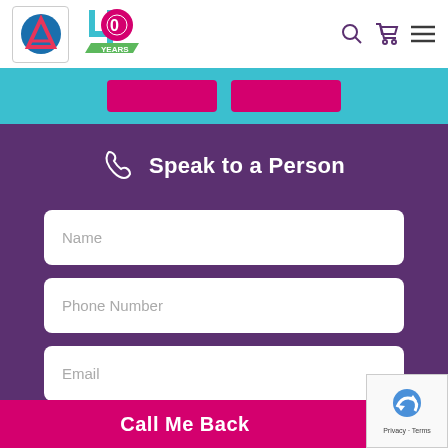[Figure (screenshot): Navigation bar with company logo (triangle A in a box), 40 Years anniversary logo, search icon, cart icon, and hamburger menu icon on white background]
[Figure (screenshot): Cyan/teal banner strip with two partially visible pink/magenta buttons]
Speak to a Person
Name
Phone Number
Email
Call Me Back